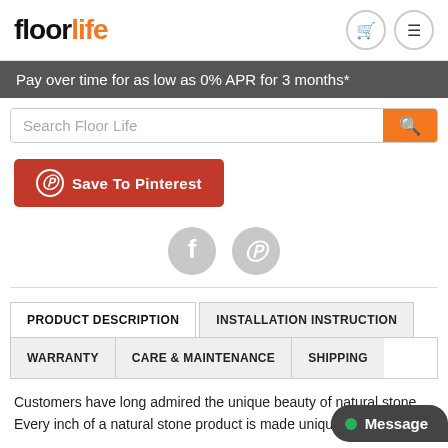floorlife
Pay over time for as low as 0% APR for 3 months*
Search Floor Life
Save To Pinterest
PRODUCT DESCRIPTION
INSTALLATION INSTRUCTION
WARRANTY
CARE & MAINTENANCE
SHIPPING
Customers have long admired the unique beauty of natural stone. Every inch of a natural stone product is made unique by